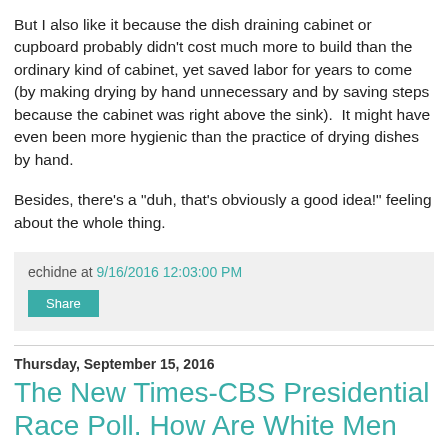But I also like it because the dish draining cabinet or cupboard probably didn't cost much more to build than the ordinary kind of cabinet, yet saved labor for years to come (by making drying by hand unnecessary and by saving steps because the cabinet was right above the sink).  It might have even been more hygienic than the practice of drying dishes by hand.
Besides, there's a "duh, that's obviously a good idea!" feeling about the whole thing.
echidne at 9/16/2016 12:03:00 PM
Share
Thursday, September 15, 2016
The New Times-CBS Presidential Race Poll. How Are White Men And White Women Planning To Vote?